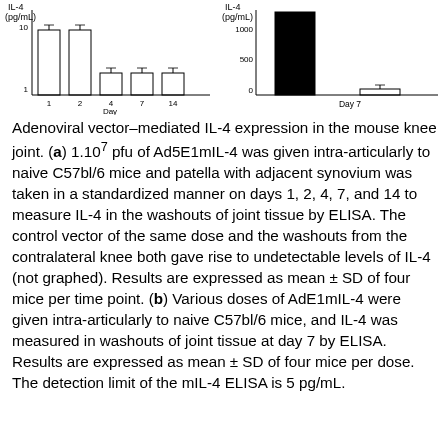[Figure (bar-chart): IL-4 over days (chart a)]
[Figure (bar-chart): IL-4 at Day 7 by dose (chart b)]
Adenoviral vector–mediated IL-4 expression in the mouse knee joint. (a) 1.10^7 pfu of Ad5E1mIL-4 was given intra-articularly to naive C57bl/6 mice and patella with adjacent synovium was taken in a standardized manner on days 1, 2, 4, 7, and 14 to measure IL-4 in the washouts of joint tissue by ELISA. The control vector of the same dose and the washouts from the contralateral knee both gave rise to undetectable levels of IL-4 (not graphed). Results are expressed as mean ± SD of four mice per time point. (b) Various doses of AdE1mIL-4 were given intra-articularly to naive C57bl/6 mice, and IL-4 was measured in washouts of joint tissue at day 7 by ELISA. Results are expressed as mean ± SD of four mice per dose. The detection limit of the mIL-4 ELISA is 5 pg/mL.